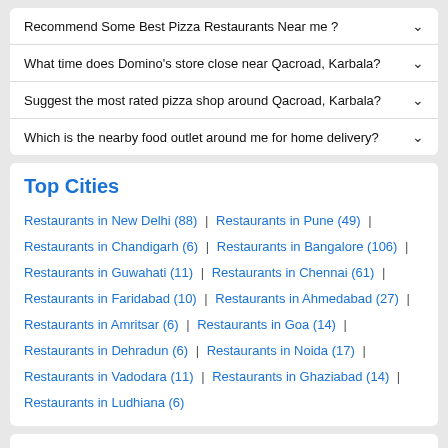Recommend Some Best Pizza Restaurants Near me ?
What time does Domino's store close near Qacroad, Karbala?
Suggest the most rated pizza shop around Qacroad, Karbala?
Which is the nearby food outlet around me for home delivery?
Top Cities
Restaurants in New Delhi (88) | Restaurants in Pune (49) | Restaurants in Chandigarh (6) | Restaurants in Bangalore (106) | Restaurants in Guwahati (11) | Restaurants in Chennai (61) | Restaurants in Faridabad (10) | Restaurants in Ahmedabad (27) | Restaurants in Amritsar (6) | Restaurants in Goa (14) | Restaurants in Dehradun (6) | Restaurants in Noida (17) | Restaurants in Vadodara (11) | Restaurants in Ghaziabad (14) | Restaurants in Ludhiana (6)
Top Stores